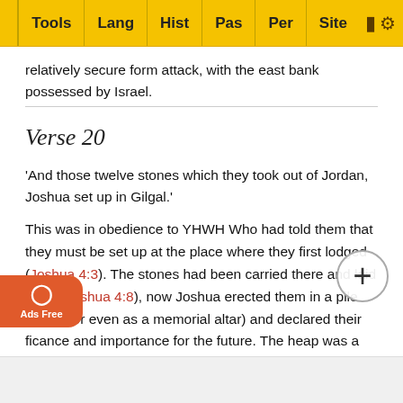Tools | Lang | Hist | Pas | Per | Site
relatively secure form attack, with the east bank possessed by Israel.
Verse 20
'And those twelve stones which they took out of Jordan, Joshua set up in Gilgal.'
This was in obedience to YHWH Who had told them that they must be set up at the place where they first lodged (Joshua 4:3). The stones had been carried there and laid there (Joshua 4:8), now Joshua erected them in a pile (or in a or even as a memorial altar) and declared their ficance and importance for the future. The heap was a witness to the faithfulness of YHWH and His great power (comp land and th is